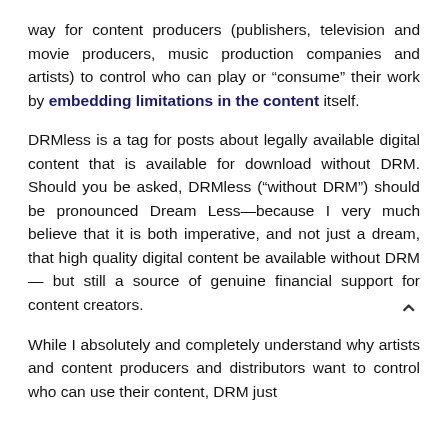way for content producers (publishers, television and movie producers, music production companies and artists) to control who can play or “consume” their work by embedding limitations in the content itself.
DRMless is a tag for posts about legally available digital content that is available for download without DRM. Should you be asked, DRMless (“without DRM”) should be pronounced Dream Less—because I very much believe that it is both imperative, and not just a dream, that high quality digital content be available without DRM — but still a source of genuine financial support for content creators.
While I absolutely and completely understand why artists and content producers and distributors want to control who can use their content, DRM just